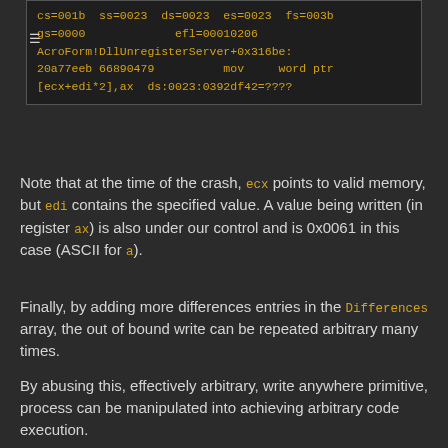[Figure (screenshot): Debugger output showing register values and disassembly: cs=001b ss=0023 ds=0023 es=0023 fs=003b gs=0000 efl=00010206 AcroForm!DllUnregisterServer+0x316be: 20a77eeb 66890479 mov word ptr [ecx+edi*2],ax ds:0023:0392df42=????]
Note that at the time of the crash, ecx points to valid memory, but edi contains the specified value. A value being written (in register ax) is also under our control and is 0x0061 in this case (ASCII for a).
Finally, by adding more differences entries in the Differences array, the out of bound write can be repeated arbitrary many times.
By abusing this, effectively arbitrary, write anywhere primitive, process can be manipulated into achieving arbitrary code execution.